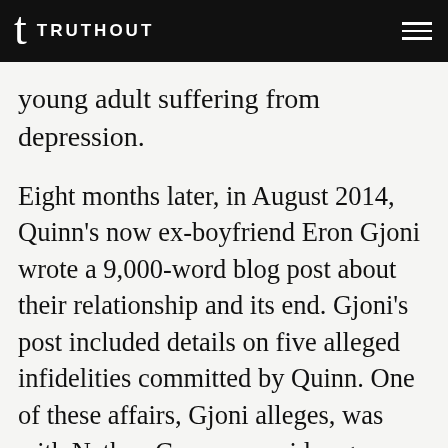TRUTHOUT
young adult suffering from depression.
Eight months later, in August 2014, Quinn’s now ex-boyfriend Eron Gjoni wrote a 9,000-word blog post about their relationship and its end. Gjoni’s post included details on five alleged infidelities committed by Quinn. One of these affairs, Gjoni alleges, was with Nathan Grayson, a video game journalist who writes for the website Kotaku, which is part of the popular Gawker family of sites. Gjoni suggested that Quinn slept with Grayson in order to receive